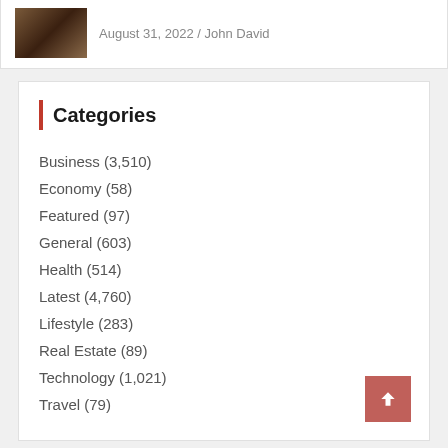August 31, 2022 / John David
Categories
Business (3,510)
Economy (58)
Featured (97)
General (603)
Health (514)
Latest (4,760)
Lifestyle (283)
Real Estate (89)
Technology (1,021)
Travel (79)
You may Missed